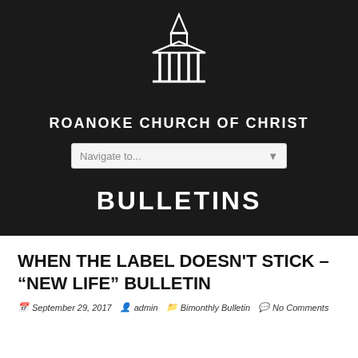[Figure (logo): White line-art illustration of a church building with steeple on dark background]
ROANOKE CHURCH OF CHRIST
[Figure (screenshot): Navigation dropdown bar reading 'Navigate to...']
BULLETINS
WHEN THE LABEL DOESN'T STICK – "NEW LIFE" BULLETIN
September 29, 2017  admin  Bimonthly Bulletin  No Comments